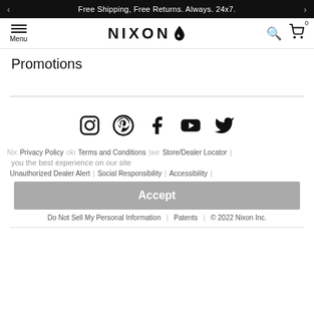Free Shipping, Free Returns. Always. 24x7.
[Figure (logo): Nixon logo with flame icon and hamburger menu, search, and cart icons]
Promotions
[Figure (infographic): Social media icons row: Instagram, Pinterest, Facebook, YouTube, Twitter]
Privacy Policy | Terms and Conditions | Store/Dealer Locator | Unauthorized Dealer Alert | Social Responsibility | Accessibility | Do Not Sell My Personal Information | Patents | © 2022 Nixon Inc.